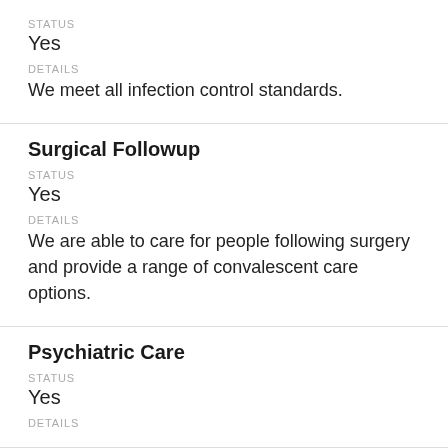STATUS
Yes
DETAILS
We meet all infection control standards.
Surgical Followup
STATUS
Yes
DETAILS
We are able to care for people following surgery and provide a range of convalescent care options.
Psychiatric Care
STATUS
Yes
DETAILS